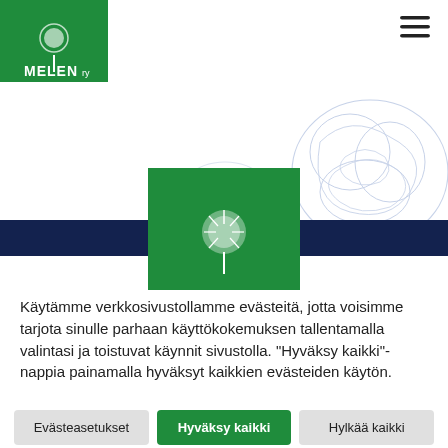[Figure (logo): MELEN ry logo — green square with white dandelion illustration and white text 'MELEN ry']
He amente.
[Figure (illustration): Decorative abstract brain/dandelion outline illustrations in light blue on white background, with a green rectangle overlay containing a white dandelion icon, and a dark navy horizontal band]
Käytämme verkkosivustollamme evästeitä, jotta voisimme tarjota sinulle parhaan käyttökokemuksen tallentamalla valintasi ja toistuvat käynnit sivustolla. "Hyväksy kaikki"-nappia painamalla hyväksyt kaikkien evästeiden käytön.
Evästeasetukset
Hyväksy kaikki
Hylkää kaikki